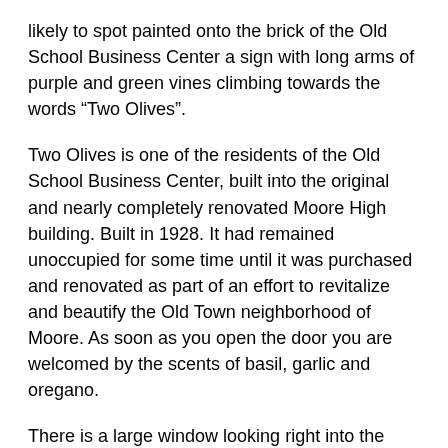likely to spot painted onto the brick of the Old School Business Center a sign with long arms of purple and green vines climbing towards the words “Two Olives”.
Two Olives is one of the residents of the Old School Business Center, built into the original and nearly completely renovated Moore High building. Built in 1928. It had remained unoccupied for some time until it was purchased and renovated as part of an effort to revitalize and beautify the Old Town neighborhood of Moore. As soon as you open the door you are welcomed by the scents of basil, garlic and oregano.
There is a large window looking right into the comfortable but classy dining area. Two Olives offers the space as a private room for on-site catering and it would be a great place to host a holiday office party. There is an outside patio for fair weather and with a fire pit where you might imagine lingering over a beverage for a while and enjoying some friendly company.